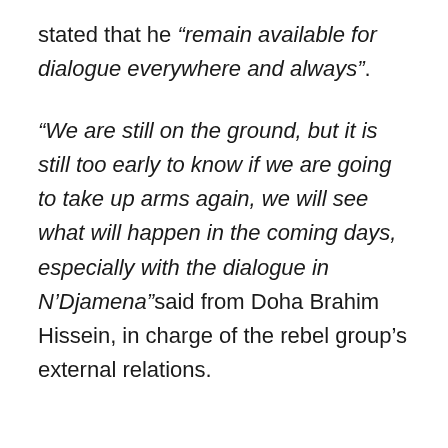stated that he “remain available for dialogue everywhere and always”.
“We are still on the ground, but it is still too early to know if we are going to take up arms again, we will see what will happen in the coming days, especially with the dialogue in N’Djamena”said from Doha Brahim Hissein, in charge of the rebel group’s external relations.